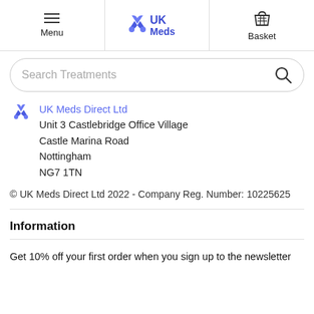Menu | UK Meds | Basket
[Figure (screenshot): Search Treatments search bar with magnifying glass icon]
UK Meds Direct Ltd
Unit 3 Castlebridge Office Village
Castle Marina Road
Nottingham
NG7 1TN
© UK Meds Direct Ltd 2022 - Company Reg. Number: 10225625
Information
Get 10% off your first order when you sign up to the newsletter